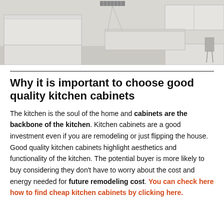[Figure (photo): Photograph of a modern kitchen with white/light grey cabinets, a kitchen island, and grey tile flooring viewed from a corner angle. The top portion of the image is visible.]
Why it is important to choose good quality kitchen cabinets
The kitchen is the soul of the home and cabinets are the backbone of the kitchen. Kitchen cabinets are a good investment even if you are remodeling or just flipping the house. Good quality kitchen cabinets highlight aesthetics and functionality of the kitchen. The potential buyer is more likely to buy considering they don't have to worry about the cost and energy needed for future remodeling cost. You can check here how to find cheap kitchen cabinets by clicking here.